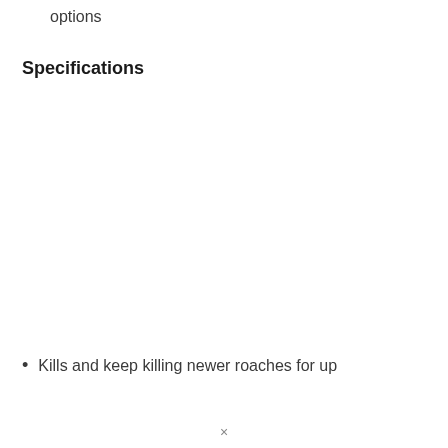options
Specifications
Kills and keep killing newer roaches for up